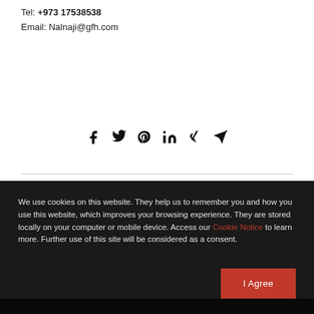Tel: +973 17538538
Email: Nalnaji@gfh.com
[Figure (infographic): Social media share icons: Facebook, Twitter, Pinterest, LinkedIn, Xing, Telegram]
We use cookies on this website. They help us to remember you and how you use this website, which improves your browsing experience. They are stored locally on your computer or mobile device. Access our Cookie Notice to learn more. Further use of this site will be considered as a consent.